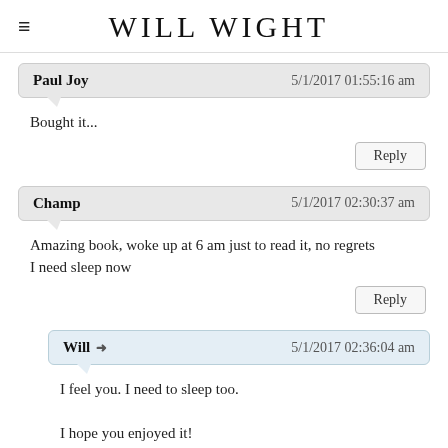WILL WIGHT
Paul Joy   5/1/2017 01:55:16 am
Bought it...
Reply
Champ   5/1/2017 02:30:37 am
Amazing book, woke up at 6 am just to read it, no regrets
I need sleep now
Reply
Will ➜   5/1/2017 02:36:04 am
I feel you. I need to sleep too.
I hope you enjoyed it!